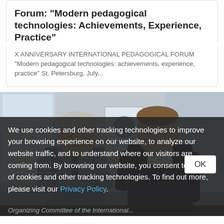Forum: "Modern pedagogical technologies: Achievements, Experience, Practice"
X ANNIVERSARY INTERNATIONAL PEDAGOGICAL FORUM "Modern pedagogical technologies: achievements, experience, practice" St. Petersburg, July...
[Figure (photo): Two men in business attire talking in an office setting, one older with gray hair in a shirt and tie, one younger in a dark suit jacket]
We use cookies and other tracking technologies to improve your browsing experience on our website, to analyze our website traffic, and to understand where our visitors are coming from. By browsing our website, you consent to our use of cookies and other tracking technologies. To find out more, please visit our Privacy Policy.
Organizing Committee of the International...